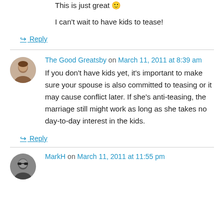This is just great 🙂
I can't wait to have kids to tease!
↳ Reply
The Good Greatsby on March 11, 2011 at 8:39 am
If you don't have kids yet, it's important to make sure your spouse is also committed to teasing or it may cause conflict later. If she's anti-teasing, the marriage still might work as long as she takes no day-to-day interest in the kids.
↳ Reply
MarkH on March 11, 2011 at 11:55 pm